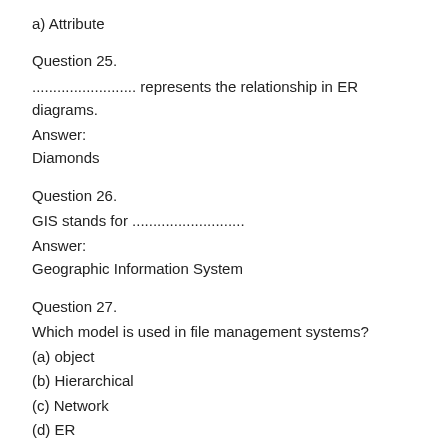a) Attribute
Question 25.
......................... represents the relationship in ER diagrams.
Answer:
Diamonds
Question 26.
GIS stands for ...........................
Answer:
Geographic Information System
Question 27.
Which model is used in file management systems?
(a) object
(b) Hierarchical
(c) Network
(d) ER
Answer:
(a) object
Question 28.